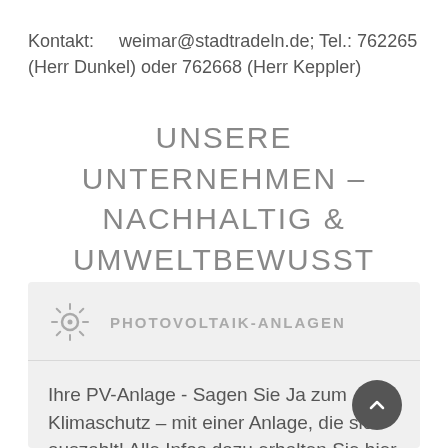Kontakt:    weimar@stadtradeln.de; Tel.: 762265 (Herr Dunkel) oder 762668 (Herr Keppler)
UNSERE UNTERNEHMEN – NACHHALTIG & UMWELTBEWUSST
PHOTOVOLTAIK-ANLAGEN
Ihre PV-Anlage - Sagen Sie Ja zum Klimaschutz – mit einer Anlage, die sich auszahlt! Alle Infos dazu erhalten Sie hier